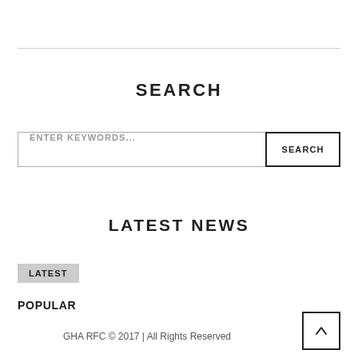SEARCH
ENTER KEYWORDS...
LATEST NEWS
LATEST
POPULAR
GHA RFC © 2017 | All Rights Reserved